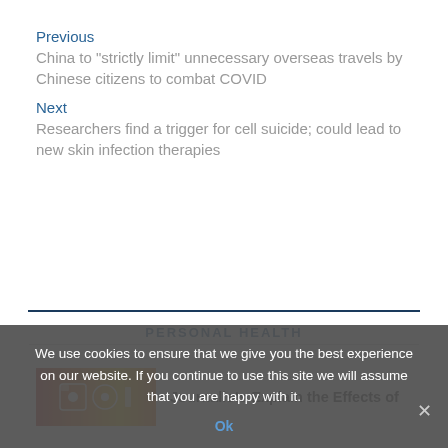Previous
China to "strictly limit" unnecessary overseas travels by Chinese citizens to combat COVID
Next
Researchers find a trigger for cell suicide; could lead to new skin infection therapies
PERSONAL HEALTH
[Figure (photo): Thumbnail image with red, orange and yellow gradient background with icons]
Journalists Explain the Effects of
We use cookies to ensure that we give you the best experience on our website. If you continue to use this site we will assume that you are happy with it.
Ok